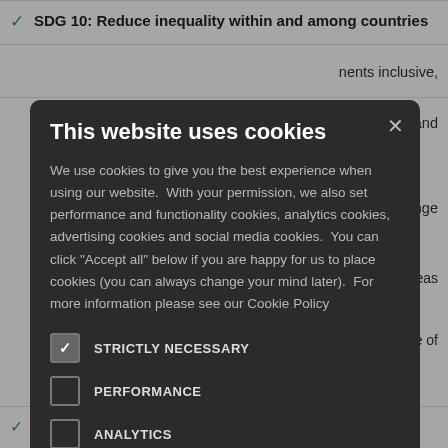✓ SDG 10: Reduce inequality within and among countries
…nents inclusive,
…on and
…climate change
…the oceans, seas …evelopment
…ustainable use of …age forests, …erse land
[Figure (screenshot): Cookie consent modal overlay on a dark background. Title: 'This website uses cookies'. Body text explaining cookie usage. Checkboxes for: STRICTLY NECESSARY (checked), PERFORMANCE (unchecked), ANALYTICS (unchecked), FUNCTIONALITY (unchecked), SOCIAL MEDIA (unchecked). Close button (×) in top right.]
✓ SDG 16: Promote peaceful and inclusive societies for